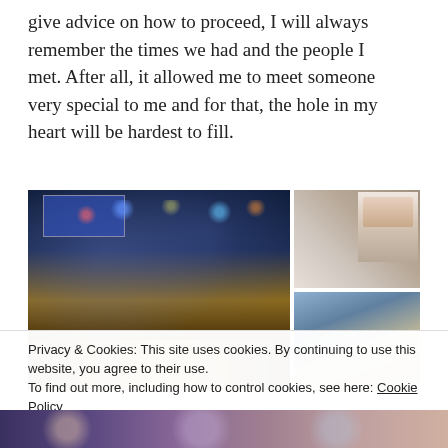give advice on how to proceed, I will always remember the times we had and the people I met. After all, it allowed me to meet someone very special to me and for that, the hole in my heart will be hardest to fill.
[Figure (photo): Left: interior of a bar with colorful lights, TV screens, and a long counter with bottles. Right top: wall display of vinyl record album covers featuring portrait photos. Right bottom: more vinyl record album covers.]
Privacy & Cookies: This site uses cookies. By continuing to use this website, you agree to their use.
To find out more, including how to control cookies, see here: Cookie Policy
Close and accept
[Figure (photo): Bottom strip showing partial view of more vinyl record album covers and photos.]